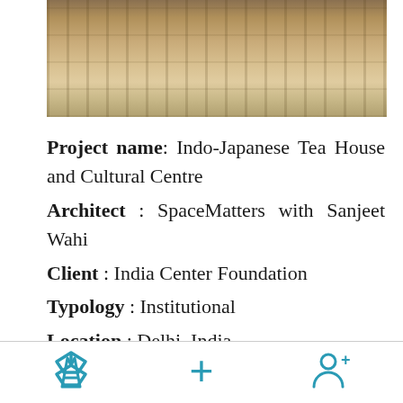[Figure (photo): Photo of Indo-Japanese Tea House showing wooden architecture with grid windows and open courtyard/deck area]
Project name: Indo-Japanese Tea House and Cultural Centre
Architect : SpaceMatters with Sanjeet Wahi
Client : India Center Foundation
Typology : Institutional
Location : Delhi, India
Site area : 10,000 sq.ft.
Status: Built
Navigation footer with home, add, and user icons